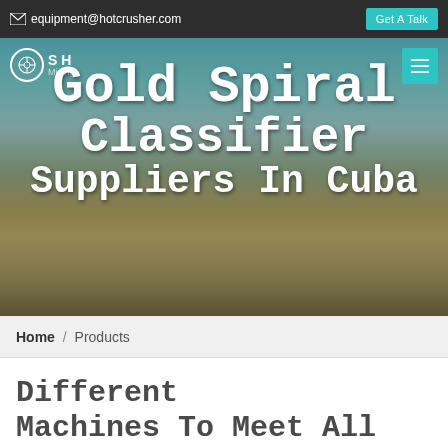equipment@hotcrusher.com  Get A Talk
Gold Spiral Classifier Suppliers In Cuba
[Figure (photo): Mining equipment facility with conveyor belts and industrial machinery under clear sky]
Home / Products
Different Machines To Meet All Need
[Figure (photo): Mining machine photo strip at bottom of page]